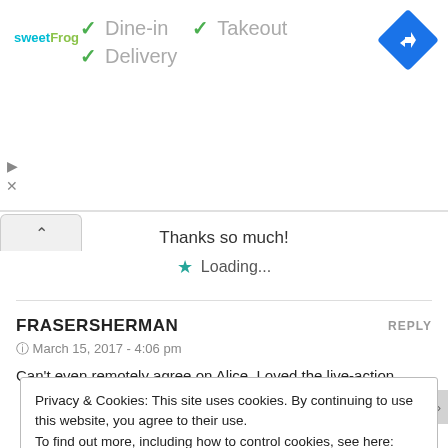[Figure (logo): sweetFrog logo in teal/green text]
✓ Dine-in   ✓ Takeout
✓ Delivery
[Figure (illustration): Blue diamond navigation/directions icon]
[Figure (illustration): Collapse/caret tab button at left]
Thanks so much!
★ Loading...
FRASERSHERMAN
REPLY
© March 15, 2017 - 4:06 pm
Can't even remotely agree on Alice. Loved the live-action,
Privacy & Cookies: This site uses cookies. By continuing to use this website, you agree to their use.
To find out more, including how to control cookies, see here: Cookie Policy
Close and accept